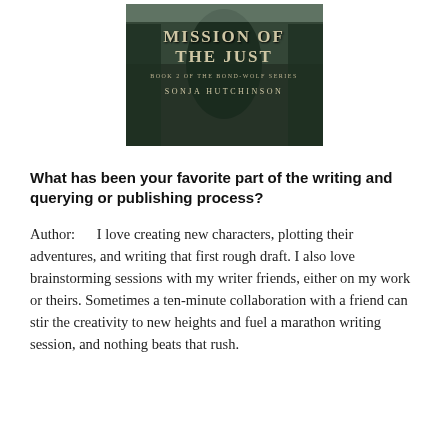[Figure (illustration): Book cover for 'Mission of the Just, Book 2 of the Bond-Wolf Series' by Sonja Hutchinson. Dark green/forest background with stylized serif title text and author name.]
What has been your favorite part of the writing and querying or publishing process?
Author:      I love creating new characters, plotting their adventures, and writing that first rough draft. I also love brainstorming sessions with my writer friends, either on my work or theirs. Sometimes a ten-minute collaboration with a friend can stir the creativity to new heights and fuel a marathon writing session, and nothing beats that rush.